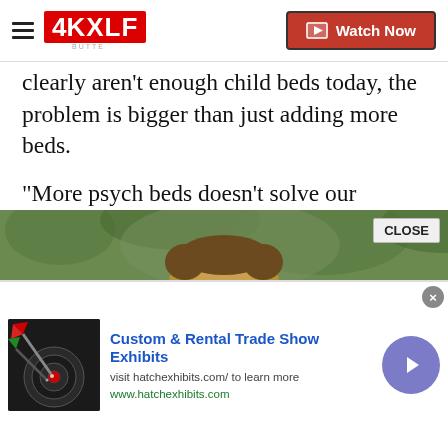4KXLF | Watch Now
clearly aren't enough child beds today, the problem is bigger than just adding more beds.
"More psych beds doesn't solve our problem if it's not coupled with home and community-based services," he said.
His organization recently sued the state on behalf of seven families whose children fell into crisis after approved in-home psychiatric treatment never came.
[Figure (photo): Partial photo of a person outdoors with green foliage background, with a CLOSE button overlay]
[Figure (other): Advertisement banner: Custom & Rental Trade Show Exhibits. Visit hatchexhibits.com/ to learn more. www.hatchexhibits.com. Image shows a dartboard with a dart. Arrow navigation button on right.]